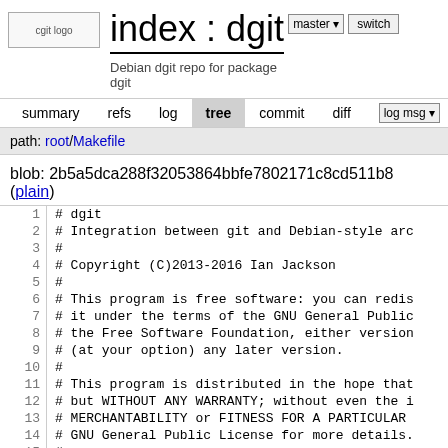cgit logo
index : dgit
Debian dgit repo for package dgit
master ▾  switch
summary   refs   log   tree   commit   diff   log msg ▾
path: root/Makefile
blob: 2b5a5dca288f32053864bbfe7802171c8cd511b8 (plain)
| line | code |
| --- | --- |
| 1 | # dgit |
| 2 | # Integration between git and Debian-style arc |
| 3 | # |
| 4 | # Copyright (C)2013-2016 Ian Jackson |
| 5 | # |
| 6 | # This program is free software: you can redis |
| 7 | # it under the terms of the GNU General Public |
| 8 | # the Free Software Foundation, either version |
| 9 | # (at your option) any later version. |
| 10 | # |
| 11 | # This program is distributed in the hope that |
| 12 | # but WITHOUT ANY WARRANTY; without even the i |
| 13 | # MERCHANTABILITY or FITNESS FOR A PARTICULAR |
| 14 | # GNU General Public License for more details. |
| 15 | # |
| 16 | # You should have received a copy of the GNU G |